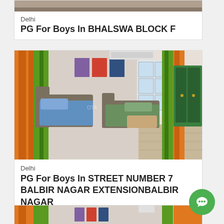[Figure (photo): Partial view of a room/furniture at top of page (cropped)]
Delhi
PG For Boys In BHALSWA BLOCK F
[Figure (photo): Interior photo of a PG accommodation room with orange and green curtains, two single beds with blue and green mattresses, grey upholstered headboards, and a green wardrobe]
Delhi
PG For Boys In STREET NUMBER 7 BALBIR NAGAR EXTENSIONBALBIR NAGAR
[Figure (photo): Partial view of another similar room with orange and green curtains (bottom of page, cropped)]